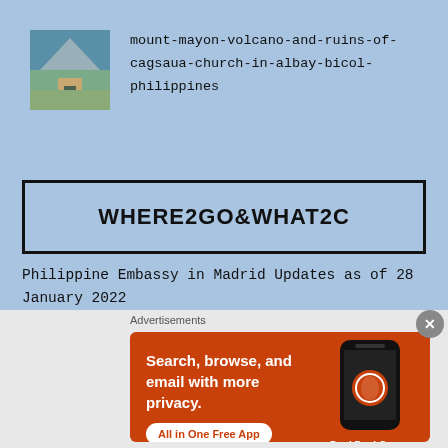[Figure (photo): Small thumbnail photo of Mount Mayon Volcano and ruins of Cagsaua Church]
mount-mayon-volcano-and-ruins-of-cagsaua-church-in-albay-bicol-philippines
WHERE2GO&WHAT2C
Philippine Embassy in Madrid Updates as of 28 January 2022
[Figure (screenshot): DuckDuckGo advertisement: Search, browse, and email with more privacy. All in One Free App. Shows phone with DuckDuckGo app.]